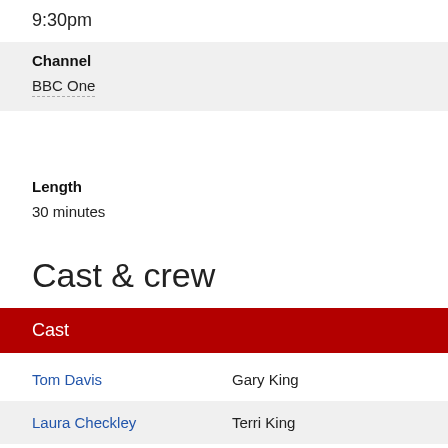9:30pm
| Channel |
| --- |
| BBC One |
Length
30 minutes
Cast & crew
| Cast |  |
| --- | --- |
| Tom Davis | Gary King |
| Laura Checkley | Terri King |
| Simon Day | Big Gary King |